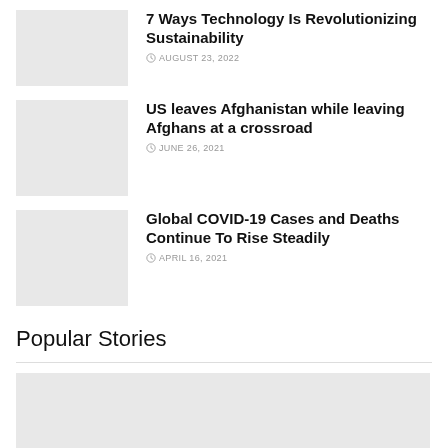[Figure (photo): Thumbnail image placeholder for article about technology and sustainability]
7 Ways Technology Is Revolutionizing Sustainability
AUGUST 23, 2022
[Figure (photo): Thumbnail image placeholder for article about US leaving Afghanistan]
US leaves Afghanistan while leaving Afghans at a crossroad
JUNE 26, 2021
[Figure (photo): Thumbnail image placeholder for article about Global COVID-19 Cases]
Global COVID-19 Cases and Deaths Continue To Rise Steadily
APRIL 16, 2021
Popular Stories
[Figure (photo): Large thumbnail image placeholder for popular story]